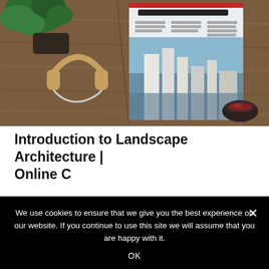[Figure (photo): Overhead flat lay photo on a wooden desk: green plant in top left, headphones in center left, magazine showing 'IN ARCHITECTURE' text with aerial city photo on right side, small bowl with red items in bottom right.]
Introduction to Landscape Architecture | Online C...
We use cookies to ensure that we give you the best experience on our website. If you continue to use this site we will assume that you are happy with it.
OK